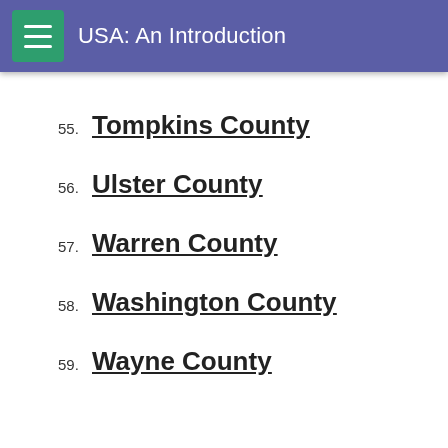USA: An Introduction
55. Tompkins County
56. Ulster County
57. Warren County
58. Washington County
59. Wayne County